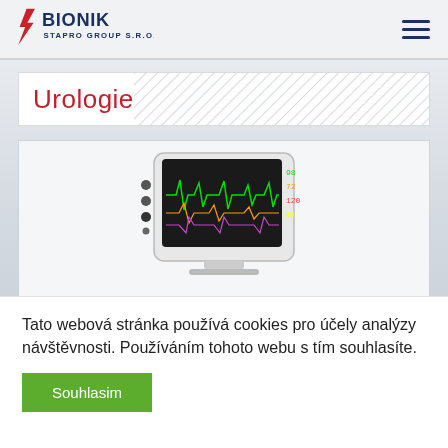[Figure (logo): Bionik Stapro Group S.R.O. company logo with lightning bolt symbol, red and dark blue text]
Urologie
[Figure (photo): Medical patient monitor device with colorful waveform display screen showing ECG and vital signs]
Tato webová stránka používá cookies pro účely analýzy návštěvnosti. Používáním tohoto webu s tím souhlasíte.
Souhlasim